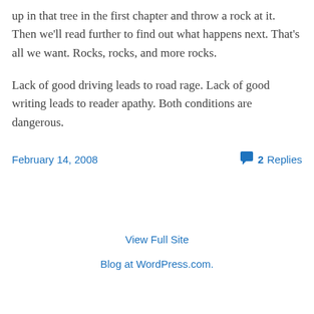up in that tree in the first chapter and throw a rock at it. Then we'll read further to find out what happens next. That's all we want. Rocks, rocks, and more rocks.
Lack of good driving leads to road rage. Lack of good writing leads to reader apathy. Both conditions are dangerous.
February 14, 2008
2 Replies
View Full Site
Blog at WordPress.com.